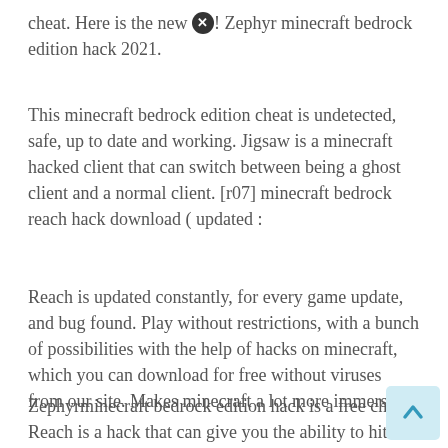cheat. Here is the new ⓧ! Zephyr minecraft bedrock edition hack 2021.
This minecraft bedrock edition cheat is undetected, safe, up to date and working. Jigsaw is a minecraft hacked client that can switch between being a ghost client and a normal client. [r07] minecraft bedrock reach hack download ( updated :
Reach is updated constantly, for every game update, and bug found. Play without restrictions, with a bunch of possibilities with the help of hacks on minecraft, which you can download for free without viruses from our site. Makes minecraft a lot more immersive.
Zephyrminecraft bedrock edition hack is a free cheat. Reach is a hack that can give you the ability to hit players from further away than the